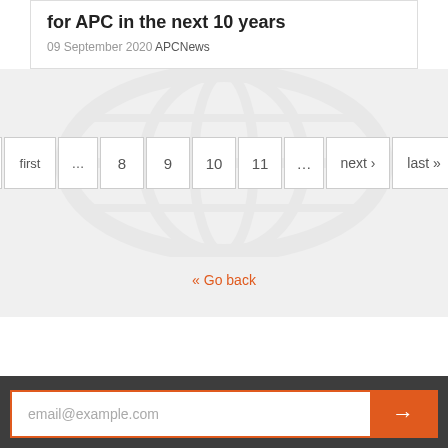for APC in the next 10 years
09 September 2020 APCNews
« first  …  8  9  10  11  …  next ›  last »  7
« Go back
email@example.com